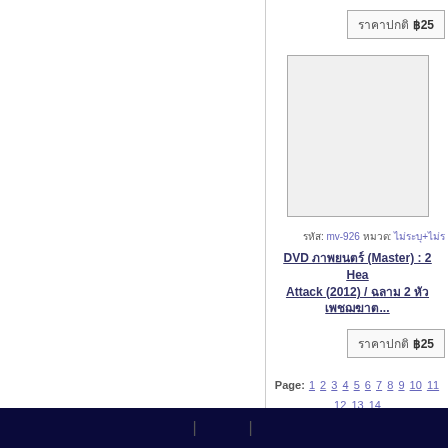ราคา ฿25
[Figure (other): Product image placeholder box]
รหัส: mv-926 หมวด: ไม่ระบุ+...
DVD ภาพยนตร์ (Master) : 2 Headed Shark Attack (2012) / ฉลาม 2 หัวเพชฌฆาต...
ราคาปกติ ฿25
Page: 1 2 3 4 5 6 7 8 9 10 11 12 13 14... 54 55 56 57 58 59 60 61 62 63 64 65 6... 104 105 106 107 108 109 110 111...
footer navigation links